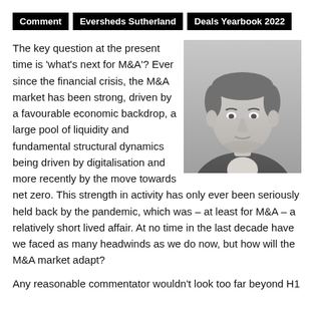Comment | Eversheds Sutherland | Deals Yearbook 2022
The key question at the present time is 'what's next for M&A'? Ever since the financial crisis, the M&A market has been strong, driven by a favourable economic backdrop, a large pool of liquidity and fundamental structural dynamics being driven by digitalisation and more recently by the move towards net zero. This strength in activity has only ever been seriously held back by the pandemic, which was – at least for M&A – a relatively short lived affair. At no time in the last decade have we faced as many headwinds as we do now, but how will the M&A market adapt?
[Figure (photo): Black and white portrait photo of a man in a suit]
Any reasonable commentator wouldn't look too far beyond H1